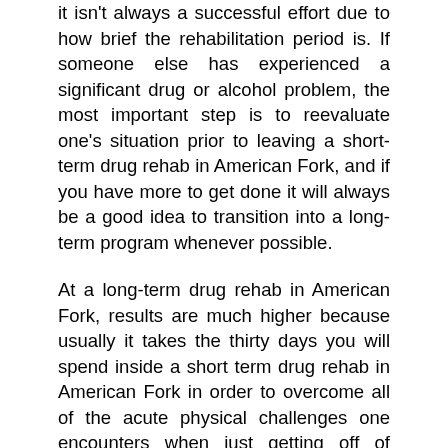it isn't always a successful effort due to how brief the rehabilitation period is. If someone else has experienced a significant drug or alcohol problem, the most important step is to reevaluate one's situation prior to leaving a short-term drug rehab in American Fork, and if you have more to get done it will always be a good idea to transition into a long-term program whenever possible.
At a long-term drug rehab in American Fork, results are much higher because usually it takes the thirty days you will spend inside a short term drug rehab in American Fork in order to overcome all of the acute physical challenges one encounters when just getting off of drugs. Someone who is recently getting off of heroin by way of example will have severe withdrawal symptoms for around a week then less severe symptoms including intense urges to use for many more weeks. It's difficult to concentrate on the real rehabilitation process which handles the sources of one's habit with all of this occurring, so being able to be treated and have any shot at long-term sobriety is a lot more realistic inside a long-term American Fork drug rehab. So following detoxification and after overcoming the withdrawal symptoms, individuals within a long-term drug rehab in